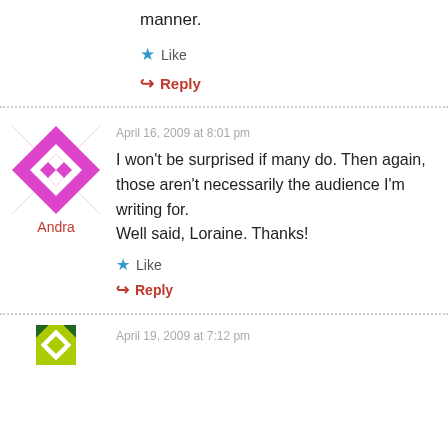manner.
Like
Reply
[Figure (illustration): Magenta/white geometric diamond pattern avatar for user Andra]
Andra
April 16, 2009 at 8:01 pm
I won’t be surprised if many do. Then again, those aren’t necessarily the audience I’m writing for.
Well said, Loraine. Thanks!
Like
Reply
[Figure (illustration): Partial yellow/green geometric avatar for next commenter]
April 19, 2009 at 7:12 pm